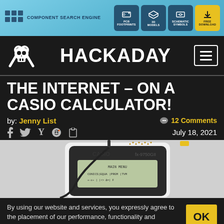COMPONENT SEARCH ENGINE — PCB FOOTPRINTS, 3D MODELS, SCHEMATIC SYMBOLS, FREE DOWNLOAD
HACKADAY
THE INTERNET – ON A CASIO CALCULATOR!
by: Jenny List   💬 12 Comments
July 18, 2021
[Figure (photo): Casio fx-9750GII calculator showing MAIN MENU screen, connected to a cable with yellow connector at top]
By using our website and services, you expressly agree to the placement of our performance, functionality and advertising cookies. Learn more